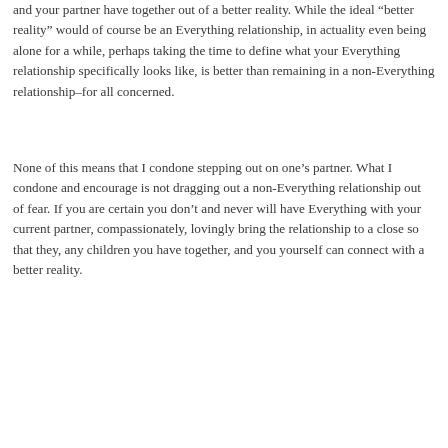and your partner have together out of a better reality. While the ideal “better reality” would of course be an Everything relationship, in actuality even being alone for a while, perhaps taking the time to define what your Everything relationship specifically looks like, is better than remaining in a non-Everything relationship–for all concerned.
None of this means that I condone stepping out on one’s partner. What I condone and encourage is not dragging out a non-Everything relationship out of fear. If you are certain you don’t and never will have Everything with your current partner, compassionately, lovingly bring the relationship to a close so that they, any children you have together, and you yourself can connect with a better reality.